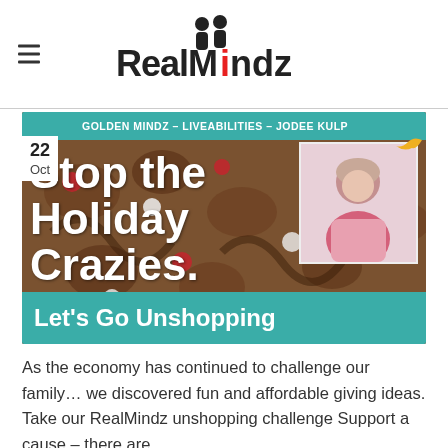[Figure (logo): RealMindz logo with two stylized figures and red/black text]
[Figure (photo): Article featured image: 'Stop the Holiday Crazies. Let's Go Unshopping' with pretzel background, author photo of Jodee Kulp, teal banners with text 'GOLDEN MINDZ - LIVEABILITIES - JODEE KULP' and 'Let's Go Unshopping', date badge '22 Oct']
As the economy has continued to challenge our family… we discovered fun and affordable giving ideas. Take our RealMindz unshopping challenge Support a cause – there are